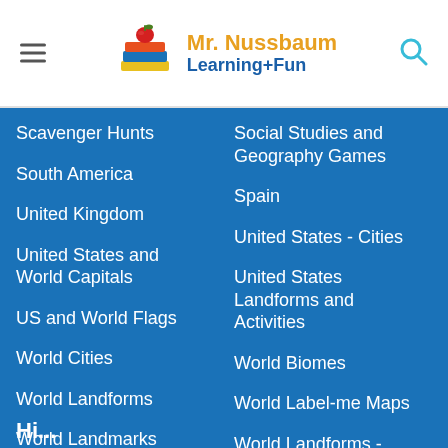Mr. Nussbaum Learning+Fun
Scavenger Hunts
Social Studies and Geography Games
South America
Spain
United Kingdom
United States - Cities
United States and World Capitals
United States Landforms and Activities
US and World Flags
World Biomes
World Cities
World Label-me Maps
World Landforms
World Landforms - Activities
World Landmarks
Hi...